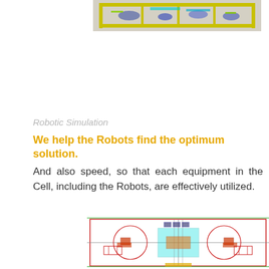[Figure (photo): Top-down view of a robotic manufacturing cell simulation with yellow framework and blue/green components on a gray background]
Robotic Simulation
We help the Robots find the optimum solution.
And also speed, so that each equipment in the Cell, including the Robots, are effectively utilized.
[Figure (engineering-diagram): Technical 2D floor plan layout drawing of a robotic welding cell with robots shown in circular work envelopes, conveyor equipment, and structural elements in red, cyan, green and gray lines]